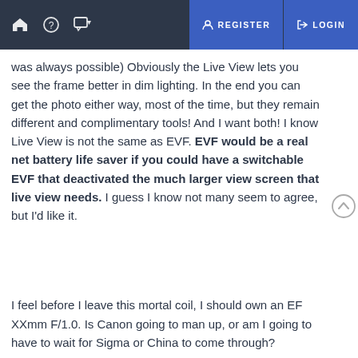🏠 ? 💬 ▾   REGISTER   LOGIN
was always possible)  Obviously the Live View lets you see the frame better in dim lighting.  In the end you can get the photo either way, most of the time, but they remain different and complimentary tools!  And I want both!  I know Live View is not the same as EVF.  EVF would be a real net battery life saver if you could have a switchable EVF that deactivated the much larger view screen that live view needs.  I guess I know not many seem to agree, but I'd like it.
I feel before I leave this mortal coil, I should own an EF XXmm F/1.0.  Is Canon going to man up, or am I going to have to wait for Sigma or China to come through?